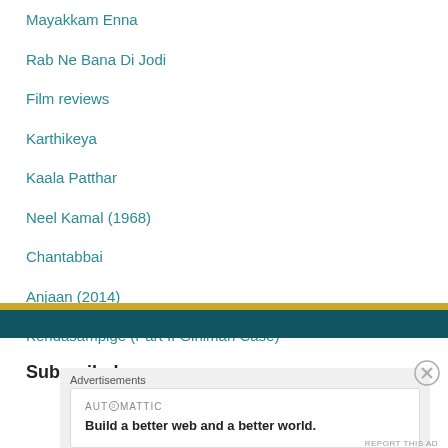Mayakkam Enna
Rab Ne Bana Di Jodi
Film reviews
Karthikeya
Kaala Patthar
Neel Kamal (1968)
Chantabbai
Anjaan (2014)
Kendasampige (Part II Ginimari Case)
Subscribe!
Advertisements
AUTOMATTIC
Build a better web and a better world.